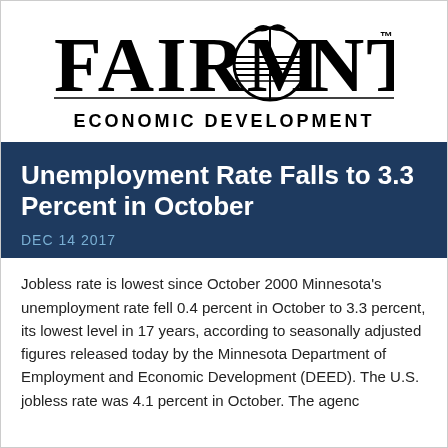[Figure (logo): Fairmont Economic Development logo with stylized globe in the word FAIRMONT and a bird/seagull, followed by ECONOMIC DEVELOPMENT text]
Unemployment Rate Falls to 3.3 Percent in October
DEC 14 2017
Jobless rate is lowest since October 2000 Minnesota's unemployment rate fell 0.4 percent in October to 3.3 percent, its lowest level in 17 years, according to seasonally adjusted figures released today by the Minnesota Department of Employment and Economic Development (DEED). The U.S. jobless rate was 4.1 percent in October. The agenc